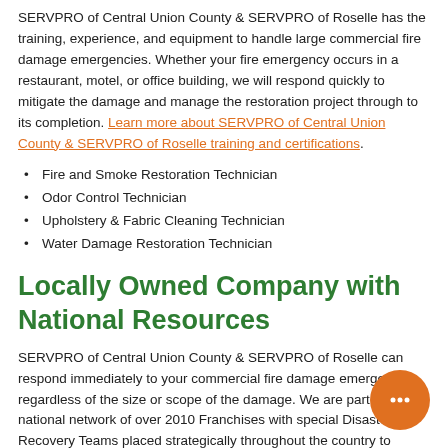SERVPRO of Central Union County & SERVPRO of Roselle has the training, experience, and equipment to handle large commercial fire damage emergencies. Whether your fire emergency occurs in a restaurant, motel, or office building, we will respond quickly to mitigate the damage and manage the restoration project through to its completion. Learn more about SERVPRO of Central Union County & SERVPRO of Roselle training and certifications.
Fire and Smoke Restoration Technician
Odor Control Technician
Upholstery & Fabric Cleaning Technician
Water Damage Restoration Technician
Locally Owned Company with National Resources
SERVPRO of Central Union County & SERVPRO of Roselle can respond immediately to your commercial fire damage emergency regardless of the size or scope of the damage. We are part of a national network of over 2010 Franchises with special Disaster Recovery Teams placed strategically throughout the country to respond to large scale events and